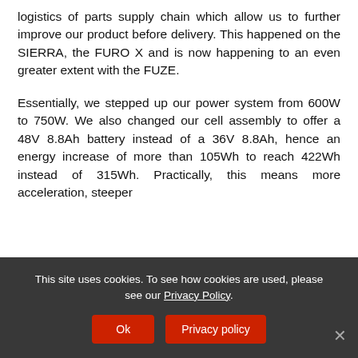logistics of parts supply chain which allow us to further improve our product before delivery. This happened on the SIERRA, the FURO X and is now happening to an even greater extent with the FUZE.
Essentially, we stepped up our power system from 600W to 750W. We also changed our cell assembly to offer a 48V 8.8Ah battery instead of a 36V 8.8Ah, hence an energy increase of more than 105Wh to reach 422Wh instead of 315Wh. Practically, this means more acceleration, steeper
This site uses cookies. To see how cookies are used, please see our Privacy Policy.